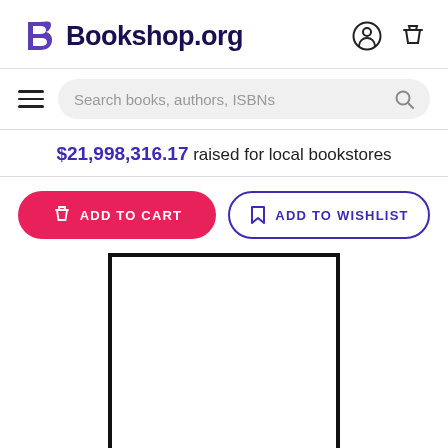Bookshop.org
Search books, authors, ISBNs
$21,998,316.17 raised for local bookstores
ADD TO CART
ADD TO WISHLIST
[Figure (other): Empty white rectangle with thick black border representing a book cover placeholder image]